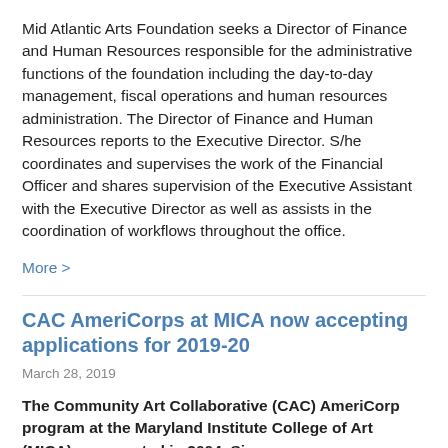Mid Atlantic Arts Foundation seeks a Director of Finance and Human Resources responsible for the administrative functions of the foundation including the day-to-day management, fiscal operations and human resources administration. The Director of Finance and Human Resources reports to the Executive Director. S/he coordinates and supervises the work of the Financial Officer and shares supervision of the Executive Assistant with the Executive Director as well as assists in the coordination of workflows throughout the office.
More >
CAC AmeriCorps at MICA now accepting applications for 2019-20
March 28, 2019
The Community Art Collaborative (CAC) AmeriCorp program at the Maryland Institute College of Art (MICA) was created in 2004. Since